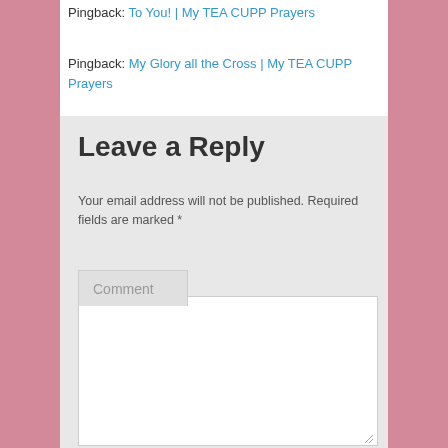Pingback: To You! | My TEA CUPP Prayers
Pingback: My Glory all the Cross | My TEA CUPP Prayers
Leave a Reply
Your email address will not be published. Required fields are marked *
Comment